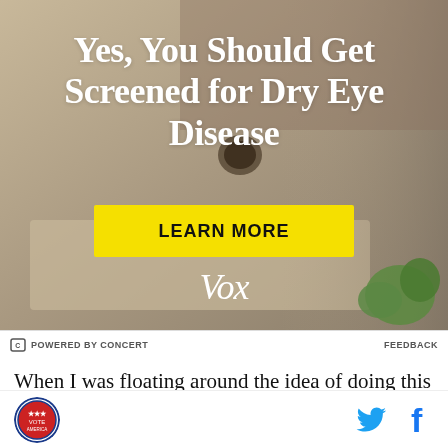[Figure (photo): Advertisement banner showing a person rubbing their eyes in front of a laptop. White bold text reads 'Yes, You Should Get Screened for Dry Eye Disease' with a yellow 'LEARN MORE' button and the Vox logo in white italic text.]
POWERED BY CONCERT   FEEDBACK
When I was floating around the idea of doing this list, I
[Figure (logo): Circular flag/seal logo at bottom left]
[Figure (logo): Twitter and Facebook social media icons at bottom right]